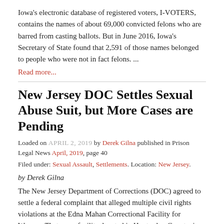Iowa's electronic database of registered voters, I-VOTERS, contains the names of about 69,000 convicted felons who are barred from casting ballots. But in June 2016, Iowa's Secretary of State found that 2,591 of those names belonged to people who were not in fact felons. ...
Read more...
New Jersey DOC Settles Sexual Abuse Suit, but More Cases are Pending
Loaded on APRIL 2, 2019 by Derek Gilna published in Prison Legal News April, 2019, page 40
Filed under: Sexual Assault, Settlements. Location: New Jersey.
by Derek Gilna
The New Jersey Department of Corrections (DOC) agreed to settle a federal complaint that alleged multiple civil rights violations at the Edna Mahan Correctional Facility for Women. That same facility, located in Hunterdon County, is also the subject of several lawsuits in state court raising similar allegations, ...
Read more...